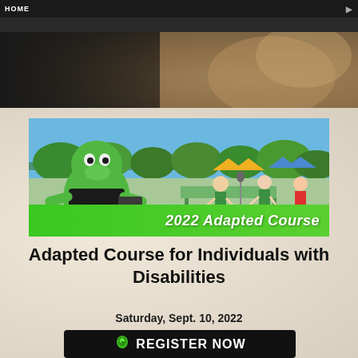HOME
[Figure (photo): Outdoor event photo showing a green dragon mascot and people at what appears to be a sports/fitness event near water, with a green banner reading '2022 Adapted Course']
Adapted Course for Individuals with Disabilities
Saturday, Sept. 10, 2022
REGISTER NOW